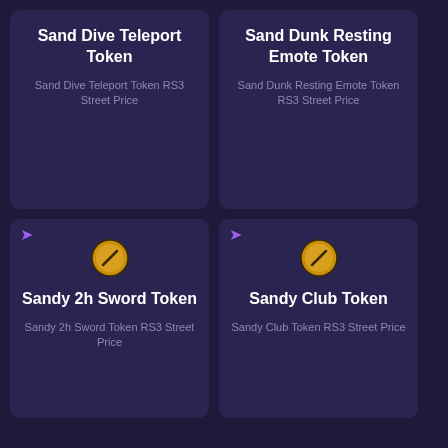Sand Dive Teleport Token
Sand Dive Teleport Token RS3 Street Price
Sand Dunk Resting Emote Token
Sand Dunk Resting Emote Token RS3 Street Price
Sandy 2h Sword Token
Sandy 2h Sword Token RS3 Street Price
Sandy Club Token
Sandy Club Token RS3 Street Price